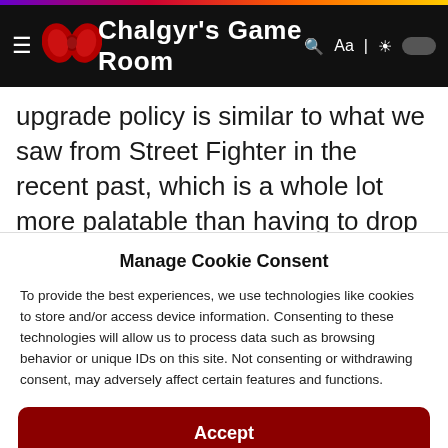Chalgyr's Game Room
upgrade policy is similar to what we saw from Street Fighter in the recent past, which is a whole lot more palatable than having to drop a fresh sixty bucks on largely recycled content. However,
Manage Cookie Consent
To provide the best experiences, we use technologies like cookies to store and/or access device information. Consenting to these technologies will allow us to process data such as browsing behavior or unique IDs on this site. Not consenting or withdrawing consent, may adversely affect certain features and functions.
Accept
Cookie Policy  Privacy Statement